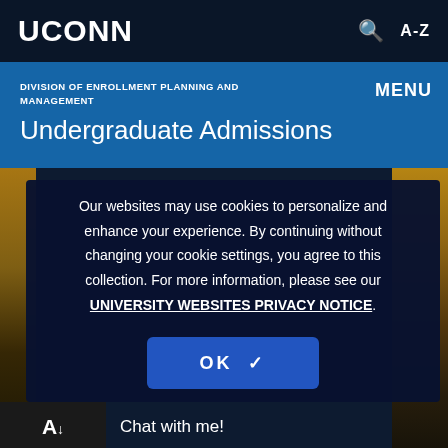UCONN
DIVISION OF ENROLLMENT PLANNING AND MANAGEMENT
Undergraduate Admissions
Our websites may use cookies to personalize and enhance your experience. By continuing without changing your cookie settings, you agree to this collection. For more information, please see our UNIVERSITY WEBSITES PRIVACY NOTICE.
OK ✓
A↓
Chat with me!